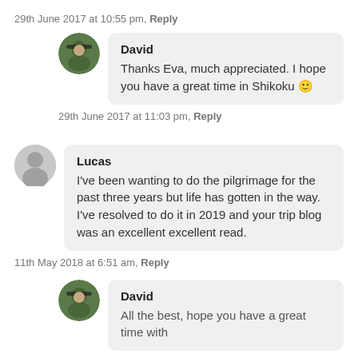29th June 2017 at 10:55 pm, Reply
David
Thanks Eva, much appreciated. I hope you have a great time in Shikoku 🙂
29th June 2017 at 11:03 pm, Reply
Lucas
I've been wanting to do the pilgrimage for the past three years but life has gotten in the way. I've resolved to do it in 2019 and your trip blog was an excellent excellent read.
11th May 2018 at 6:51 am, Reply
David
All the best, hope you have a great time with